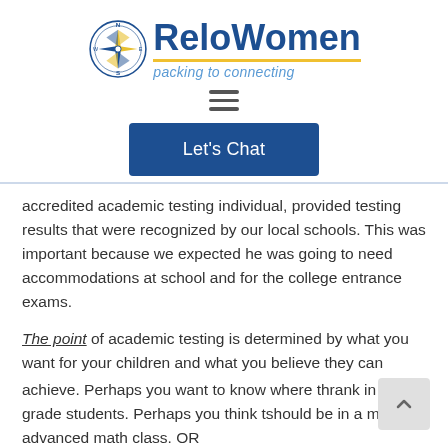[Figure (logo): ReloWomen logo with compass rose icon and tagline 'packing to connecting']
[Figure (other): Hamburger menu icon (three horizontal lines)]
[Figure (other): Blue 'Let's Chat' button]
accredited academic testing individual, provided testing results that were recognized by our local schools.  This was important because we expected he was going to need accommodations at school and for the college entrance exams.
The point of academic testing is determined by what you want for your children and what you believe they can achieve.  Perhaps you want to know where they rank in all 8th grade students.  Perhaps you think they should be in a more advanced math class.  OR